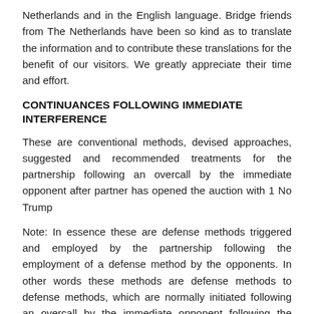Netherlands and in the English language. Bridge friends from The Netherlands have been so kind as to translate the information and to contribute these translations for the benefit of our visitors. We greatly appreciate their time and effort.
CONTINUANCES FOLLOWING IMMEDIATE INTERFERENCE
These are conventional methods, devised approaches, suggested and recommended treatments for the partnership following an overcall by the immediate opponent after partner has opened the auction with 1 No Trump
Note: In essence these are defense methods triggered and employed by the partnership following the employment of a defense method by the opponents. In other words these methods are defense methods to defense methods, which are normally initiated following an overcall by the immediate opponent following the opening of No Trump by the partner on the one level. Whether or not these guidelines and